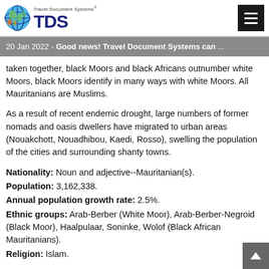Travel Document Systems TDS logo and menu button
20 Jan 2022 - Good news! Travel Document Systems can ...
taken together, black Moors and black Africans outnumber white Moors, black Moors identify in many ways with white Moors. All Mauritanians are Muslims.
As a result of recent endemic drought, large numbers of former nomads and oasis dwellers have migrated to urban areas (Nouakchott, Nouadhibou, Kaedi, Rosso), swelling the population of the cities and surrounding shanty towns.
Nationality: Noun and adjective--Mauritanian(s).
Population: 3,162,338.
Annual population growth rate: 2.5%.
Ethnic groups: Arab-Berber (White Moor), Arab-Berber-Negroid (Black Moor), Haalpulaar, Soninke, Wolof (Black African Mauritanians).
Religion: Islam.